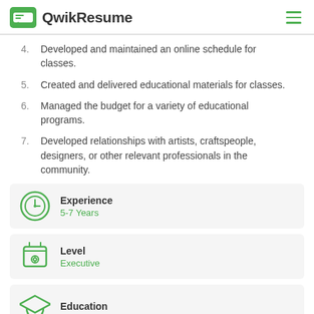QwikResume
4. Developed and maintained an online schedule for classes.
5. Created and delivered educational materials for classes.
6. Managed the budget for a variety of educational programs.
7. Developed relationships with artists, craftspeople, designers, or other relevant professionals in the community.
Experience
5-7 Years
Level
Executive
Education